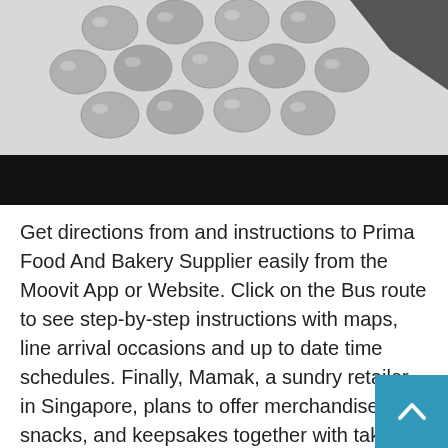[Figure (photo): Black and white photo of round dough balls or eggs on a baking tray, with a dark/black band at the bottom of the image]
Get directions from and instructions to Prima Food And Bakery Supplier easily from the Moovit App or Website. Click on the Bus route to see step-by-step instructions with maps, line arrival occasions and up to date time schedules. Finally, Mamak, a sundry retailer in Singapore, plans to offer merchandise, snacks, and keepsakes together with take-home food kits, books, and extra. Googgle Man’s Char Kuey Teow out of Penang, Malaysia, uses conventional charcoal-fired stoves to fry noodles with a smoky aroma known as wok hei or dragon’s breath. The food stall from chef Ah Guan serves rice and egg noodles delicately fried with recent seafood, vegetables, and more.